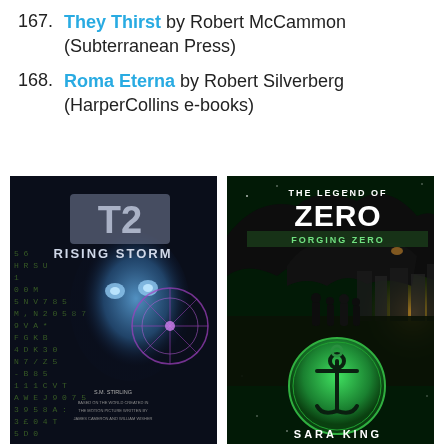167. They Thirst by Robert McCammon (Subterranean Press)
168. Roma Eterna by Robert Silverberg (HarperCollins e-books)
[Figure (photo): Book cover: T2 Rising Storm by S.M. Stirling, featuring a metallic face (Terminator) with a Ferris wheel and binary/code numbers in background]
[Figure (photo): Book cover: The Legend of Zero - Forging Zero by Sara King, featuring a large dark creature, silhouettes of people, and a glowing green anchor medallion on a dark green starry background]